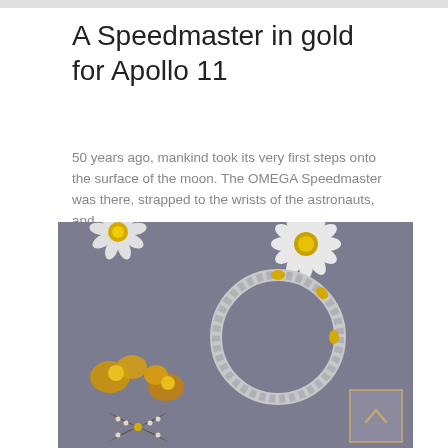A Speedmaster in gold for Apollo 11
50 years ago, mankind took its very first steps onto the surface of the moon. The OMEGA Speedmaster was there, strapped to the wrists of the astronauts, and...
[Figure (photo): Close-up photograph of jewelry pieces including daisy-shaped brooches with yellow gemstones, a circular bracelet with diamonds and yellow stones, and ornate ring components on a grey-blue surface.]